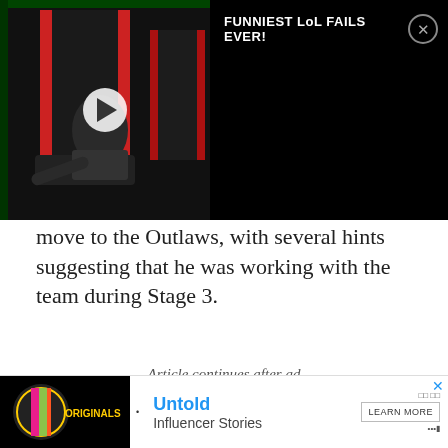[Figure (screenshot): Video thumbnail showing a gaming chair and player at an esports event with play button overlay, beside a black panel with title 'FUNNIEST LoL FAILS EVER!' and a close button]
move to the Outlaws, with several hints suggesting that he was working with the team during Stage 3.
Article continues after ad
[Figure (other): Gray advertisement placeholder block]
[Figure (other): Bottom advertisement bar showing Originals logo, 'Untold · Influencer Stories' text with Learn More button]